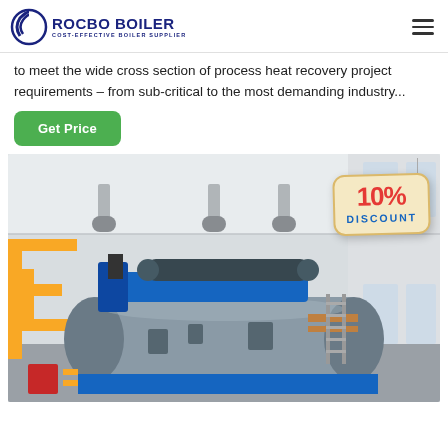ROCBO BOILER - COST-EFFECTIVE BOILER SUPPLIER
to meet the wide cross section of process heat recovery project requirements – from sub-critical to the most demanding industry...
Get Price
[Figure (photo): Industrial boiler installed inside a large factory building. The boiler is a large cylindrical horizontal unit in grey/silver, with yellow piping on the left side, a blue burner assembly on top, and a ladder on the right side. The building has white walls, a white ceiling with hanging ventilation ducts, and large windows on the right. A 10% DISCOUNT badge overlay is visible in the top-right corner of the image.]